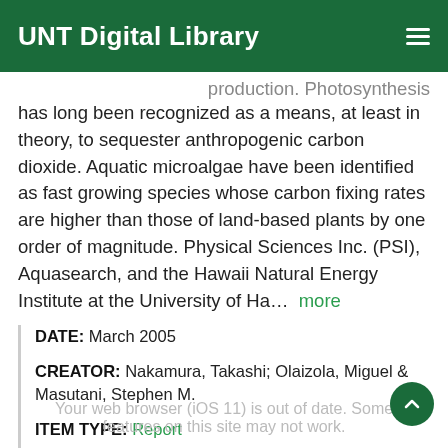UNT Digital Library
production. Photosynthesis has long been recognized as a means, at least in theory, to sequester anthropogenic carbon dioxide. Aquatic microalgae have been identified as fast growing species whose carbon fixing rates are higher than those of land-based plants by one order of magnitude. Physical Sciences Inc. (PSI), Aquasearch, and the Hawaii Natural Energy Institute at the University of Ha… more
DATE: March 2005
CREATOR: Nakamura, Takashi; Olaizola, Miguel & Masutani, Stephen M.
ITEM TYPE: Report
PARTNER: UNT Libraries Government Documents Department
Your web browser (iOS 11) is out of date. Some features on this site may not work.